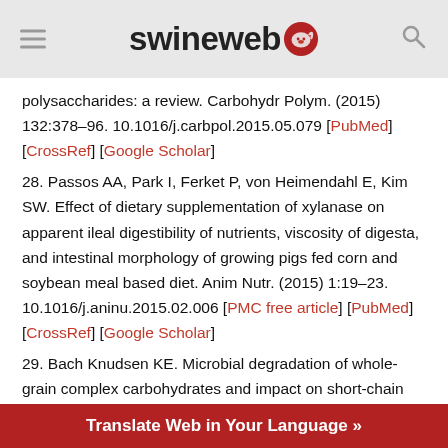swineweb
polysaccharides: a review. Carbohydr Polym. (2015) 132:378–96. 10.1016/j.carbpol.2015.05.079 [PubMed] [CrossRef] [Google Scholar]
28. Passos AA, Park I, Ferket P, von Heimendahl E, Kim SW. Effect of dietary supplementation of xylanase on apparent ileal digestibility of nutrients, viscosity of digesta, and intestinal morphology of growing pigs fed corn and soybean meal based diet. Anim Nutr. (2015) 1:19–23. 10.1016/j.aninu.2015.02.006 [PMC free article] [PubMed] [CrossRef] [Google Scholar]
29. Bach Knudsen KE. Microbial degradation of whole-grain complex carbohydrates and impact on short-chain fatty acids and health. Adv Nutr. (2015) 6:206–13. 10.3945/an.114.007450 [PMC free article] [PubMed] [CrossRef] [Google Scholar]
Translate Web in Your Language »